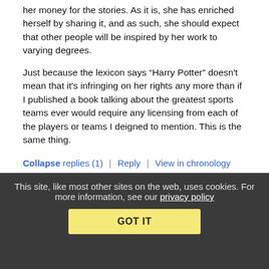her money for the stories. As it is, she has enriched herself by sharing it, and as such, she should expect that other people will be inspired by her work to varying degrees.
Just because the lexicon says “Harry Potter” doesn't mean that it's infringing on her rights any more than if I published a book talking about the greatest sports teams ever would require any licensing from each of the players or teams I deigned to mention. This is the same thing.
Collapse replies (1) | Reply | View in chronology
[Figure (other): Row of five comment action icons: lightbulb, laughing face, left speech bubble with quote marks, right speech bubble with quote marks, flag]
[Figure (other): Nested comment indicator with stacked pages icon and [3] label in blue]
This site, like most other sites on the web, uses cookies. For more information, see our privacy policy GOT IT